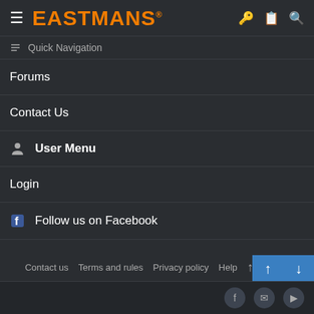EASTMANS
Quick Navigation
Forums
Contact Us
User Menu
Login
Follow us on Facebook
Contact us   Terms and rules   Privacy policy   Help